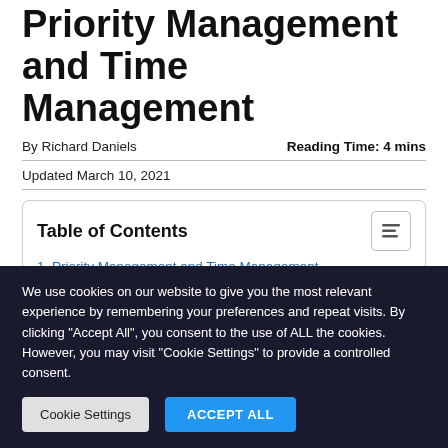Priority Management and Time Management
By Richard Daniels
Reading Time: 4 mins
Updated March 10, 2021
Table of Contents
1. Priority Management and Time Management
1.1. Not Having Prioritized Action Plan
We use cookies on our website to give you the most relevant experience by remembering your preferences and repeat visits. By clicking "Accept All", you consent to the use of ALL the cookies. However, you may visit "Cookie Settings" to provide a controlled consent.
Cookie Settings
ACCEPT ALL